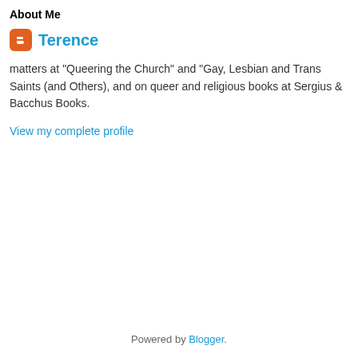About Me
Terence
matters at "Queering the Church" and "Gay, Lesbian and Trans Saints (and Others), and on queer and religious books at Sergius & Bacchus Books.
View my complete profile
Powered by Blogger.